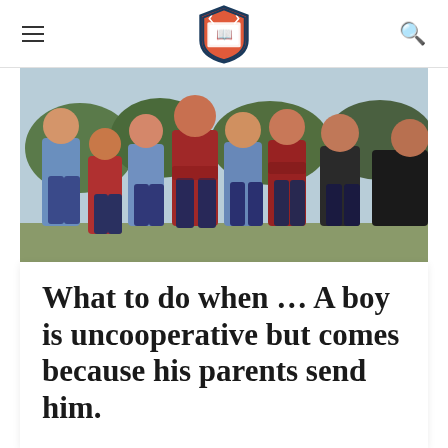≡  [logo]  Q
[Figure (photo): Group of boys standing in a line outdoors, wearing red, blue, and dark t-shirts, in a sports or camp setting]
What to do when … A boy is uncooperative but comes because his parents send him.